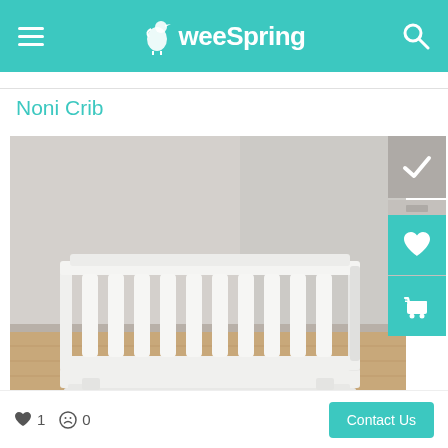weeSpring
Noni Crib
[Figure (photo): White baby crib (Noni Crib) photographed in a light grey room with wood floor. The crib has vertical slats and a modern rectangular design in white finish.]
♥ 1  ☹ 0
Contact Us